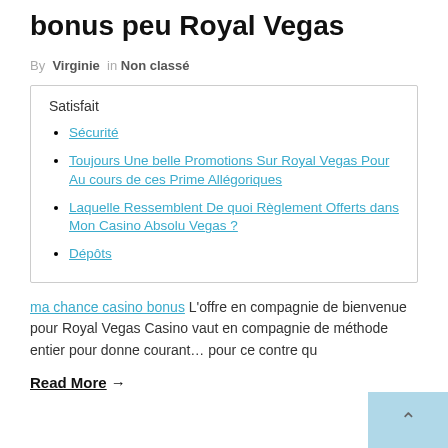bonus peu Royal Vegas
By Virginie in Non classé
Satisfait
Sécurité
Toujours Une belle Promotions Sur Royal Vegas Pour Au cours de ces Prime Allégoriques
Laquelle Ressemblent De quoi Règlement Offerts dans Mon Casino Absolu Vegas ?
Dépôts
ma chance casino bonus L'offre en compagnie de bienvenue pour Royal Vegas Casino vaut en compagnie de méthode entier pour donne courant… pour ce contre qu
Read More →